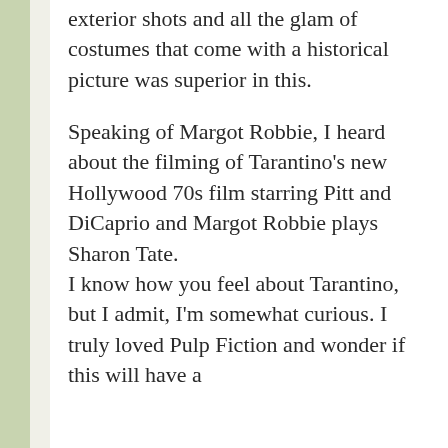exterior shots and all the glam of costumes that come with a historical picture was superior in this.
Speaking of Margot Robbie, I heard about the filming of Tarantino's new Hollywood 70s film starring Pitt and DiCaprio and Margot Robbie plays Sharon Tate. I know how you feel about Tarantino, but I admit, I'm somewhat curious. I truly loved Pulp Fiction and wonder if this will have a